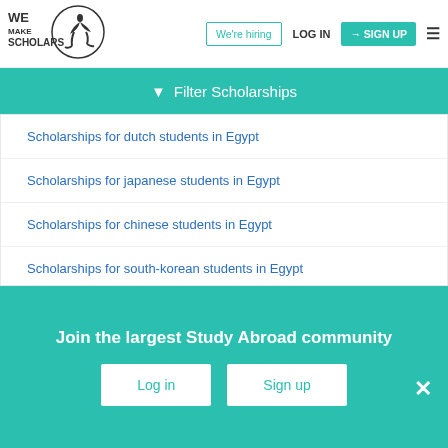[Figure (logo): We Make Scholars logo with stylized figure]
We're hiring | LOG IN | SIGN UP
Filter Scholarships
Scholarships for dutch students in Egypt
Scholarships for japanese students in Egypt
Scholarships for chinese students in Egypt
Scholarships for south-korean students in Egypt
Scholarships for saudi-arabian students in Egypt
Join the largest Study Abroad community
Log in | Sign up